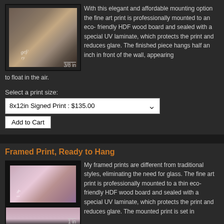[Figure (photo): Framed fine art photo print showing textured rock/wood surface with artist signature and '3/8 in' dimension label]
With this elegant and affordable mounting option the fine art print is professionally mounted to an eco- friendly HDF wood board and sealed with a special UV laminate, which protects the print and reduces glare. The finished piece hangs half an inch in front of the wall, appearing to float in the air.
Select a print size:
8x12in Signed Print : $135.00
Add to Cart
Framed Print, Ready to Hang
[Figure (photo): Framed fine art photo print showing purple/pink sunset clouds with artist signature and '1 in' dimension label]
My framed prints are different from traditional styles, eliminating the need for glass. The fine art print is professionally mounted to a thin eco-friendly HDF wood board and sealed with a special UV laminate, which protects the print and reduces glare. The mounted print is set in